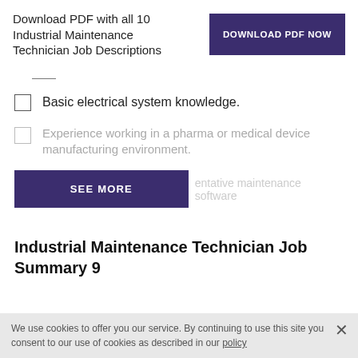Download PDF with all 10 Industrial Maintenance Technician Job Descriptions
[Figure (other): Purple button labeled DOWNLOAD PDF NOW]
Basic electrical system knowledge.
Experience working in a pharma or medical device manufacturing environment.
[Figure (other): Purple SEE MORE button, with greyed out text 'entative maintenance software' partially visible]
Industrial Maintenance Technician Job Summary 9
We use cookies to offer you our service. By continuing to use this site you consent to our use of cookies as described in our policy